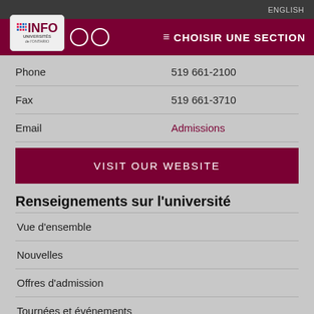ENGLISH
[Figure (logo): Info Universités de l'Ontario logo with grid-dot pattern]
≡ CHOISIR UNE SECTION
|  |  |
| --- | --- |
| Phone | 519 661-2100 |
| Fax | 519 661-3710 |
| Email | Admissions |
VISIT OUR WEBSITE
Renseignements sur l'université
Vue d'ensemble
Nouvelles
Offres d'admission
Tournées et événements
Résidences et plans de repas